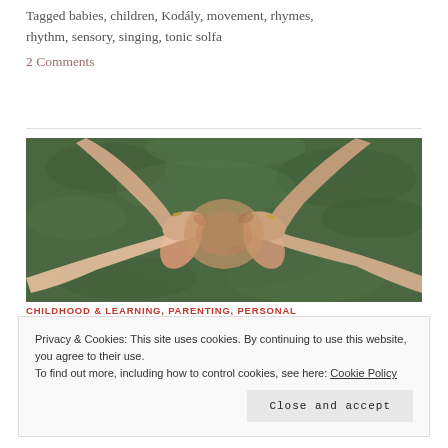Tagged babies, children, Kodály, movement, rhymes, rhythm, sensory, singing, tonic solfa
2 Comments
[Figure (photo): Photo of multiple pairs of adult and child hands clasped together in a circular formation on a green grass background]
CHILDHOOD & LEARNING, PARENTING, PERSONAL
Privacy & Cookies: This site uses cookies. By continuing to use this website, you agree to their use.
To find out more, including how to control cookies, see here: Cookie Policy
Close and accept